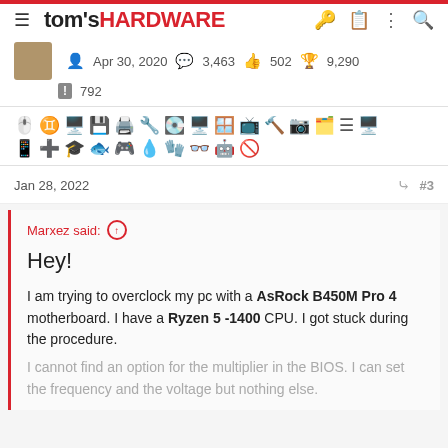tom's HARDWARE
Apr 30, 2020  3,463  502  9,290  792
[Figure (other): User badge/achievement icons row]
Jan 28, 2022  #3
Marxez said: ↑

Hey!

I am trying to overclock my pc with a AsRock B450M Pro 4 motherboard. I have a Ryzen 5 -1400 CPU. I got stuck during the procedure.
I cannot find an option for the multiplier in the BIOS. I can set the frequency and the voltage but nothing else.